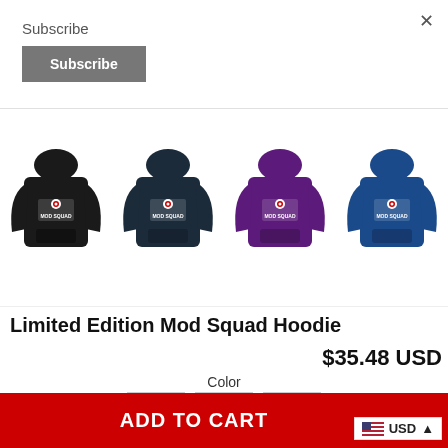×
Subscribe
Subscribe
[Figure (photo): Four hoodies shown side by side: black, dark navy, purple, and royal blue, each with 'MOD SQUAD' text and target logo on the chest]
Limited Edition Mod Squad Hoodie
$35.48 USD
Color
[Figure (other): Three color swatches: black, navy/dark blue, purple]
ADD TO CART
USD